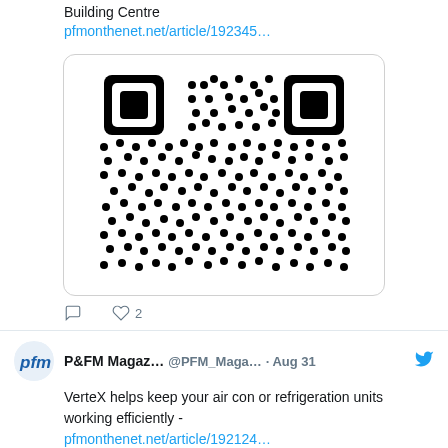Building Centre
pfmonthenet.net/article/192345…
[Figure (other): QR code image inside a rounded rectangle card]
♡ 2
P&FM Magaz… @PFM_Maga… · Aug 31
VerteX helps keep your air con or refrigeration units working efficiently -
pfmonthenet.net/article/192124…
@aspenpumpsgroup
[Figure (photo): Partial image of what appears to be insulation or natural fibrous material]